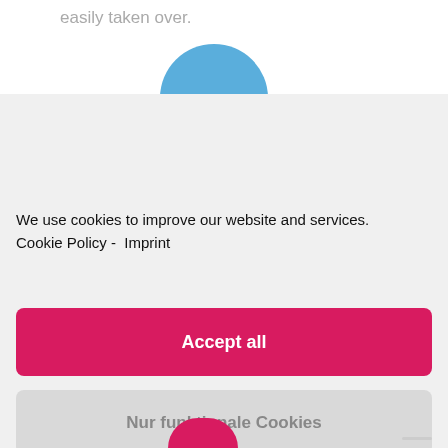easily taken over.
[Figure (illustration): Blue semicircle icon at the top of a cookie consent modal]
We use cookies to improve our website and services. Cookie Policy -  Imprint
Accept all
Nur funktionale Cookies
Settings
[Figure (illustration): Pink semicircle icon at the bottom of the page]